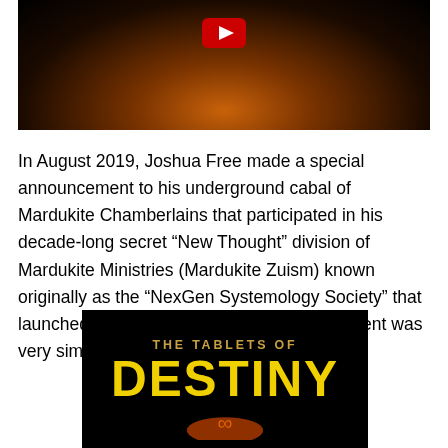[Figure (screenshot): YouTube video thumbnail showing a dark scene with orange/golden glowing light at the bottom and a red YouTube play button at the top center]
In August 2019, Joshua Free made a special announcement to his underground cabal of Mardukite Chamberlains that participated in his decade-long secret “New Thought” division of Mardukite Ministries (Mardukite Zuism) known originally as the “NexGen Systemology Society” that launched privately in 2011. That announcement was very simple and clear: IT IS TIME.
[Figure (photo): Book cover for 'The Tablets of Destiny' on black background with golden/yellow text and an infinity symbol at the bottom]